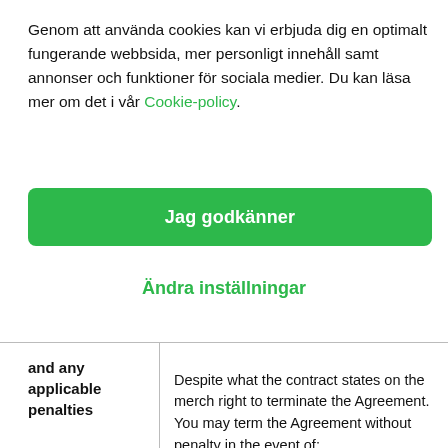Genom att använda cookies kan vi erbjuda dig en optimalt fungerande webbsida, mer personligt innehåll samt annonser och funktioner för sociala medier. Du kan läsa mer om det i vår Cookie-policy.
Jag godkänner
Ändra inställningar
| and any applicable penalties |  |
| --- | --- |
|  | Despite what the contract states on the merch right to terminate the Agreement. You may term the Agreement without penalty in the event of:
• An Adyen fee increase made unilaterally by Adyen, except one made in accordance with ... |